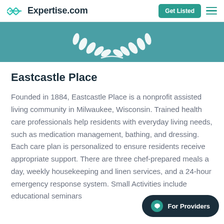Expertise.com | Get Listed
[Figure (illustration): Teal banner with white laurel wreath decoration at the top]
Eastcastle Place
Founded in 1884, Eastcastle Place is a nonprofit assisted living community in Milwaukee, Wisconsin. Trained health care professionals help residents with everyday living needs, such as medication management, bathing, and dressing. Each care plan is personalized to ensure residents receive appropriate support. There are three chef-prepared meals a day, weekly housekeeping and linen services, and a 24-hour emergency response system. Small Activities include educational seminars